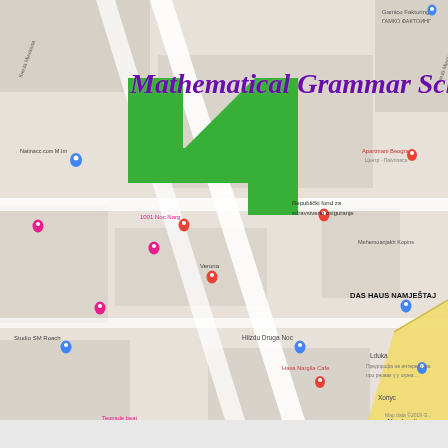[Figure (map): Google Maps screenshot showing the area around Mathematical Grammar School in Belgrade, Serbia. The map shows streets, landmarks including Republički fond za zdravstveno osiguranje, DAS HAUS NAMJEŠTAJ, Učiteljski fakultet Univerziteta u Beogradu, Akademija, Copy Center Akademija, Grand Royal Apartmani, Orthodox Church, Natale Cafe & Bistro, and other points of interest. A large green checkmark/arrow shape overlays the school location. The school name 'Mathematical Grammar School' is written in purple cursive script at the top of the map.]